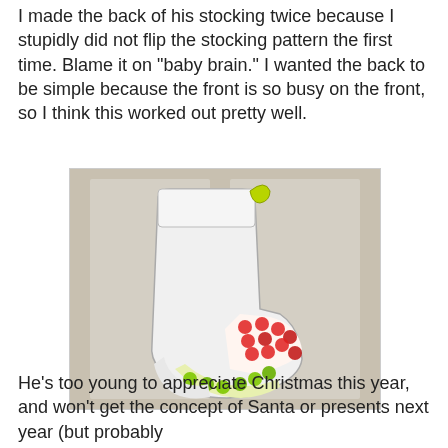I made the back of his stocking twice because I stupidly did not flip the stocking pattern the first time. Blame it on "baby brain." I wanted the back to be simple because the front is so busy on the front, so I think this worked out pretty well.
[Figure (photo): A white Christmas stocking hanging on a door, with a colorful fabric patch on the foot area featuring red and green apple print patterns. There is a yellow-green loop at the top for hanging.]
He's too young to appreciate Christmas this year, and won't get the concept of Santa or presents next year (but probably